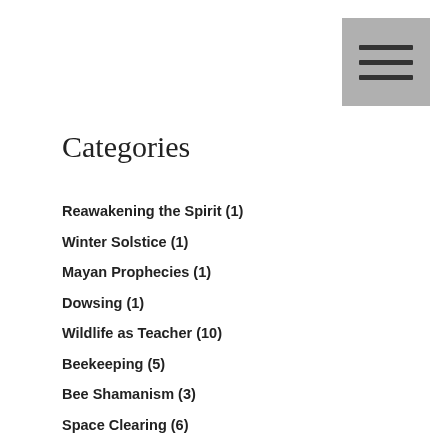[Figure (other): Hamburger menu icon — three horizontal lines on a grey square background]
Categories
Reawakening the Spirit (1)
Winter Solstice (1)
Mayan Prophecies (1)
Dowsing (1)
Wildlife as Teacher (10)
Beekeeping (5)
Bee Shamanism (3)
Space Clearing (6)
Shamanism (5)
Hoarding (3)
Geopathic Stress (10)
Feng Shui of Cities (5)
Gratitude (5)